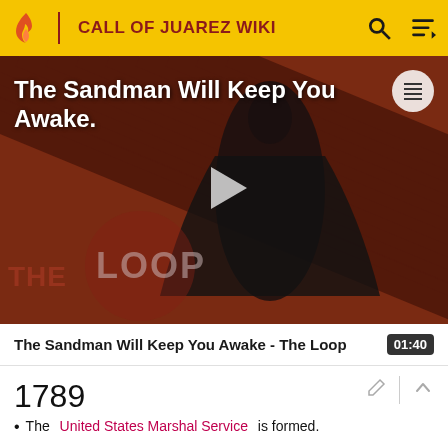CALL OF JUAREZ WIKI
[Figure (screenshot): Video thumbnail for 'The Sandman Will Keep You Awake - The Loop' showing a dark figure in black against a striped red/brown background with THE LOOP watermark and a play button overlay]
The Sandman Will Keep You Awake - The Loop  01:40
1789
The United States Marshal Service is formed.